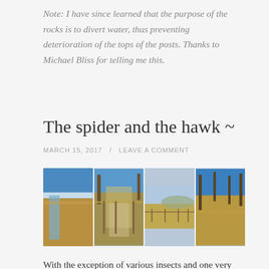Note: I have since learned that the purpose of the rocks is to divert water, thus preventing deterioration of the tops of the posts. Thanks to Michael Bliss for telling me this.
The spider and the hawk ~
MARCH 15, 2017   /   LEAVE A COMMENT
[Figure (photo): Four landscape photos side by side showing outdoor scenes: a river with brown grassy banks, a paved path with wooden fencing and bare trees, open rolling hills with a wooden fence, and a trail through brown grassy terrain with bare trees under blue sky.]
With the exception of various insects and one very loud flock of Canada geese passing overhead, that's all I saw today at the Frank State Wildlife Area, a bit southeast of Fort Collins on the